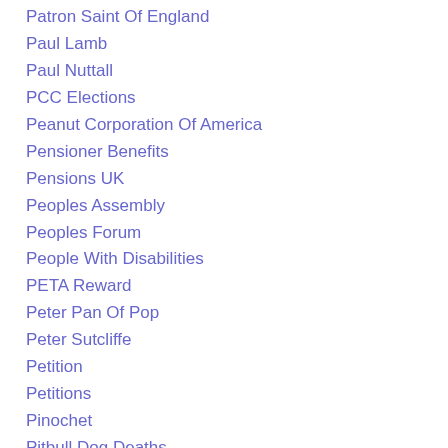Patron Saint Of England
Paul Lamb
Paul Nuttall
PCC Elections
Peanut Corporation Of America
Pensioner Benefits
Pensions UK
Peoples Assembly
Peoples Forum
People With Disabilities
PETA Reward
Peter Pan Of Pop
Peter Sutcliffe
Petition
Petitions
Pinochet
Pitbull Dog Deaths
Pitbull Dog Murdered